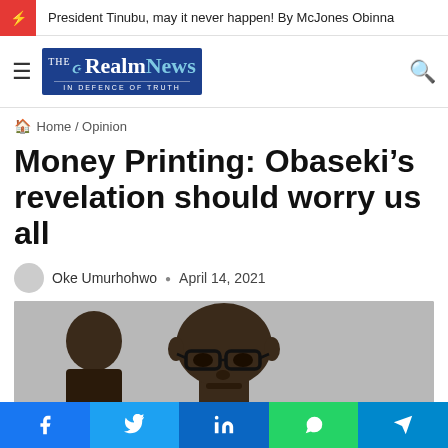President Tinubu, may it never happen! By McJones Obinna
[Figure (logo): The RealmNews logo — blue rectangle with white serif text, tagline IN DEFENCE OF TRUTH]
Home / Opinion
Money Printing: Obaseki’s revelation should worry us all
Oke Umurhohwo · April 14, 2021
[Figure (photo): Photo of Obaseki — a dark-skinned man wearing glasses, bald head, gray background, partial view of another person on the left]
Facebook · Twitter · LinkedIn · WhatsApp · Telegram